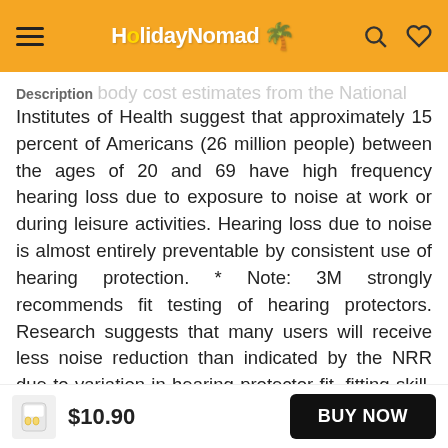HolidayNomad (logo with hamburger, search, and heart icons)
Description
Institutes of Health suggest that approximately 15 percent of Americans (26 million people) between the ages of 20 and 69 have high frequency hearing loss due to exposure to noise at work or during leisure activities. Hearing loss due to noise is almost entirely preventable by consistent use of hearing protection. * Note: 3M strongly recommends fit testing of hearing protectors. Research suggests that many users will receive less noise reduction than indicated by the NRR due to variation in hearing protector fit, fitting skill, and motivation of the user. If
$10.90  BUY NOW